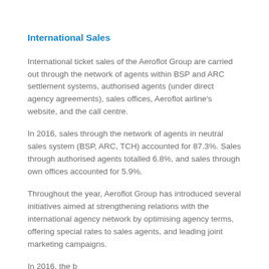International Sales
International ticket sales of the Aeroflot Group are carried out through the network of agents within BSP and ARC settlement systems, authorised agents (under direct agency agreements), sales offices, Aeroflot airline's website, and the call centre.
In 2016, sales through the network of agents in neutral sales system (BSP, ARC, TCH) accounted for 87.3%. Sales through authorised agents totalled 6.8%, and sales through own offices accounted for 5.9%.
Throughout the year, Aeroflot Group has introduced several initiatives aimed at strengthening relations with the international agency network by optimising agency terms, offering special rates to sales agents, and leading joint marketing campaigns.
In 2016, the b...